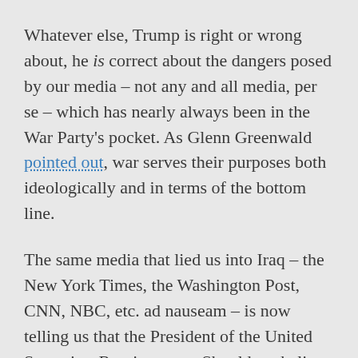Whatever else, Trump is right or wrong about, he is correct about the dangers posed by our media – not any and all media, per se – which has nearly always been in the War Party's pocket. As Glenn Greenwald pointed out, war serves their purposes both ideologically and in terms of the bottom line.
The same media that lied us into Iraq – the New York Times, the Washington Post, CNN, NBC, etc. ad nauseam – is now telling us that the President of the United States is a Russian asset. Should we believe them? Their record tells us we should turn our backs and cover our ears. In response to the laughable assertion that Trump is "demonizing" the media, some anonymous wag on Twitter – who calls himself/herself "Russian Bot" – laid out the sickening record of our "free" media in the run-up to the Iraq